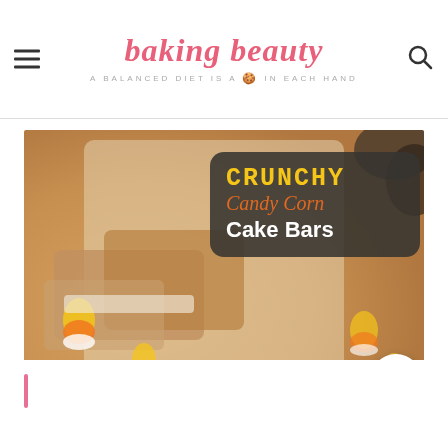baking beauty — A BALANCED DIET IS A 🍪 IN EACH HAND
[Figure (photo): Photo of Crunchy Candy Corn Cake Bars with text overlay on dark rounded rectangle showing 'CRUNCHY Candy Corn Cake Bars' in yellow, orange, and white text. Background shows blurry candy corn and baked bars. Heart save button and teal circle visible at bottom right.]